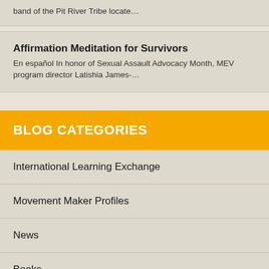band of the Pit River Tribe locate…
Affirmation Meditation for Survivors
En español In honor of Sexual Assault Advocacy Month, MEV program director Latishia James-…
BLOG CATEGORIES
International Learning Exchange
Movement Maker Profiles
News
Books
Guest Blogger